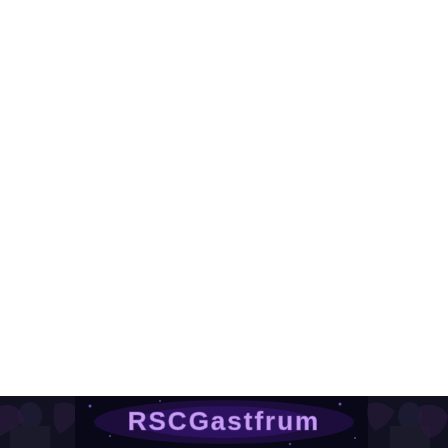[Figure (photo): A partial image visible at the bottom of the page showing a dark scene with colorful text reading 'RSC' or similar lettering in purple/blue tones, with decorative figures or characters on either side. The image is cropped showing only the bottom strip of what appears to be an event or poster graphic.]